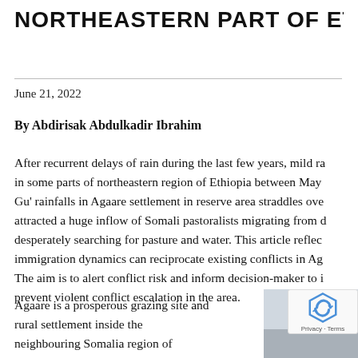NORTHEASTERN PART OF ETHIOPIA
June 21, 2022
By Abdirisak Abdulkadir Ibrahim
After recurrent delays of rain during the last few years, mild ra... in some parts of northeastern region of Ethiopia between May... Gu' rainfalls in Agaare settlement in reserve area straddles ove... attracted a huge inflow of Somali pastoralists migrating from d... desperately searching for pasture and water. This article reflec... immigration dynamics can reciprocate existing conflicts in Aga... The aim is to alert conflict risk and inform decision-maker to i... prevent violent conflict escalation in the area.
Agaare is a prosperous grazing site and rural settlement inside the neighbouring Somalia region of
[Figure (photo): Landscape photo partially visible, grey sky and terrain, with reCAPTCHA overlay in corner]